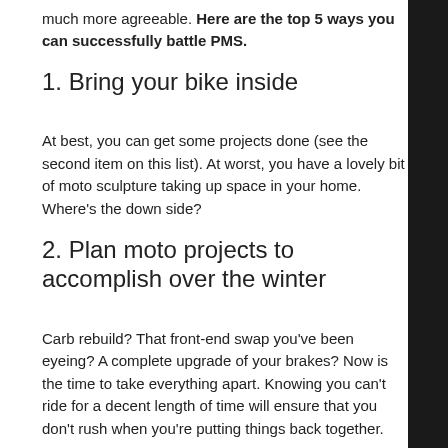much more agreeable. Here are the top 5 ways you can successfully battle PMS.
1. Bring your bike inside
At best, you can get some projects done (see the second item on this list). At worst, you have a lovely bit of moto sculpture taking up space in your home. Where’s the down side?
2. Plan moto projects to accomplish over the winter
Carb rebuild? That front-end swap you’ve been eyeing? A complete upgrade of your brakes? Now is the time to take everything apart. Knowing you can’t ride for a decent length of time will ensure that you don’t rush when you’re putting things back together.
3. Do all that bike-related reading you’ve been putting off